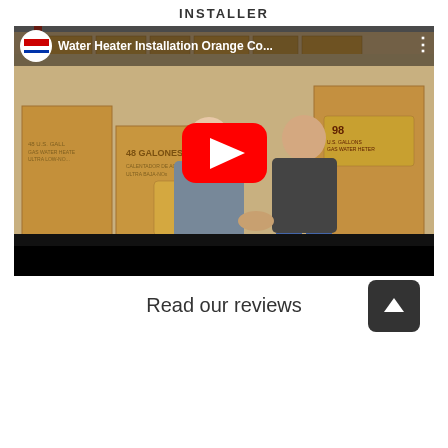INSTALLER
[Figure (screenshot): YouTube video thumbnail showing two men standing in a warehouse surrounded by water heater boxes. Video title reads 'Water Heater Installation Orange Co...' with a USA Water Heaters logo. A large red YouTube play button is centered on the image.]
Read our reviews